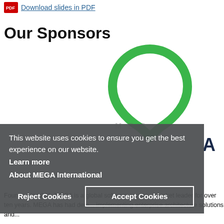Download slides in PDF
Our Sponsors
[Figure (logo): MEGA International logo — green drop/pin shape with MEGA text and 'SEE THE BIGGER PICTURE' tagline]
This website uses cookies to ensure you get the best experience on our website.
Learn more
About MEGA International
Reject Cookies
Accept Cookies
Founded in 1991, MEGA is a global software compa... market leader for over ten years. MEGA has had dem... implementing enterprise architecture solutions and...